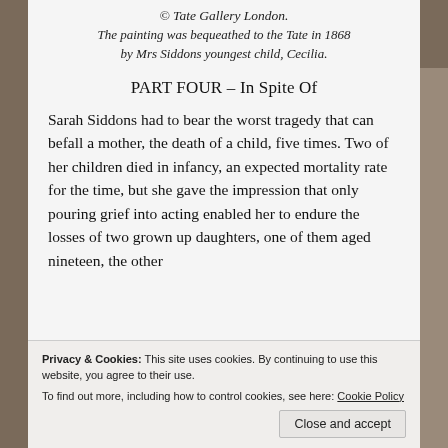© Tate Gallery London. The painting was bequeathed to the Tate in 1868 by Mrs Siddons youngest child, Cecilia.
PART FOUR – In Spite Of
Sarah Siddons had to bear the worst tragedy that can befall a mother, the death of a child, five times. Two of her children died in infancy, an expected mortality rate for the time, but she gave the impression that only pouring grief into acting enabled her to endure the losses of two grown up daughters, one of them aged nineteen, the other
Privacy & Cookies: This site uses cookies. By continuing to use this website, you agree to their use.
To find out more, including how to control cookies, see here: Cookie Policy
Close and accept